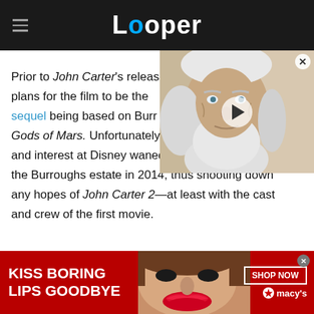Looper
[Figure (photo): Video thumbnail showing an elderly man with long white beard and hair, with a play button overlay]
Prior to John Carter's release, there were plans for the film to be the first in a trilogy, with the sequel being based on Burroughs' Gods of Mars. Unfortunately, since the film flopped and interest at Disney waned, the rights reverted to the Burroughs estate in 2014, thus shooting down any hopes of John Carter 2—at least with the cast and crew of the first movie.
[Figure (photo): Advertisement banner: KISS BORING LIPS GOODBYE with a woman's face and red lips, Macy's branding with SHOP NOW button]